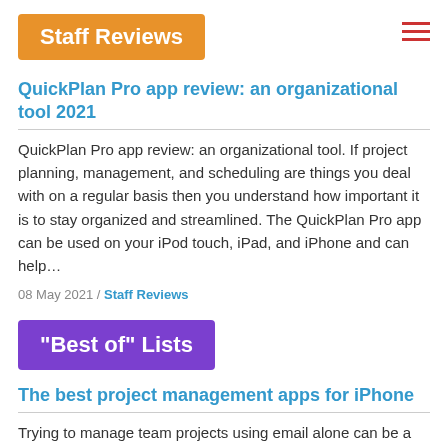Staff Reviews
QuickPlan Pro app review: an organizational tool 2021
QuickPlan Pro app review: an organizational tool. If project planning, management, and scheduling are things you deal with on a regular basis then you understand how important it is to stay organized and streamlined. The QuickPlan Pro app can be used on your iPod touch, iPad, and iPhone and can help…
08 May 2021 / Staff Reviews
"Best of" Lists
The best project management apps for iPhone
Trying to manage team projects using email alone can be a real challenge. Important messages get missed, team